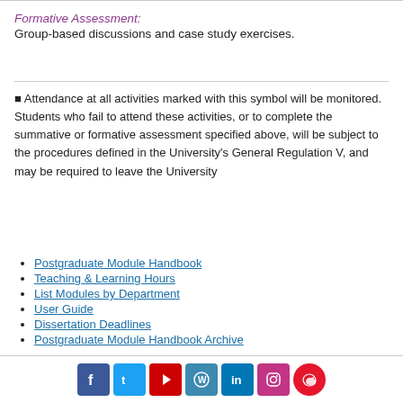Formative Assessment:
Group-based discussions and case study exercises.
■ Attendance at all activities marked with this symbol will be monitored. Students who fail to attend these activities, or to complete the summative or formative assessment specified above, will be subject to the procedures defined in the University's General Regulation V, and may be required to leave the University
Postgraduate Module Handbook
Teaching & Learning Hours
List Modules by Department
User Guide
Dissertation Deadlines
Postgraduate Module Handbook Archive
Social media icons: Facebook, Twitter, YouTube, WordPress, LinkedIn, Instagram, Weibo